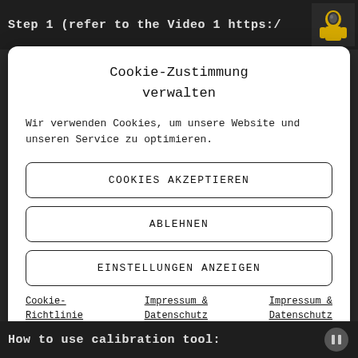Step 1 (refer to the Video 1 https:/
Cookie-Zustimmung verwalten
Wir verwenden Cookies, um unsere Website und unseren Service zu optimieren.
COOKIES AKZEPTIEREN
ABLEHNEN
EINSTELLUNGEN ANZEIGEN
Cookie-Richtlinie   Impressum & Datenschutz   Impressum & Datenschutz
How to use calibration tool: